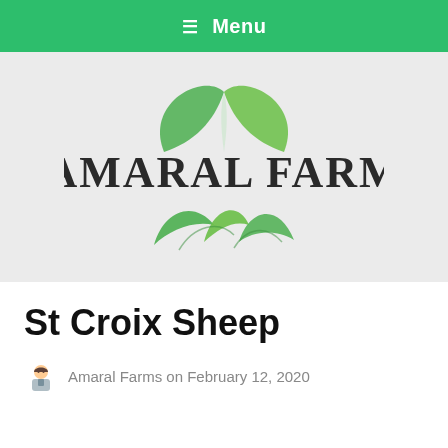≡ Menu
[Figure (logo): Amaral Farm logo: large green leaf arc above, smaller green rolling hills below, with text 'AMARAL FARM' in distressed serif font between them, on a light grey background.]
St Croix Sheep
Amaral Farms on February 12, 2020